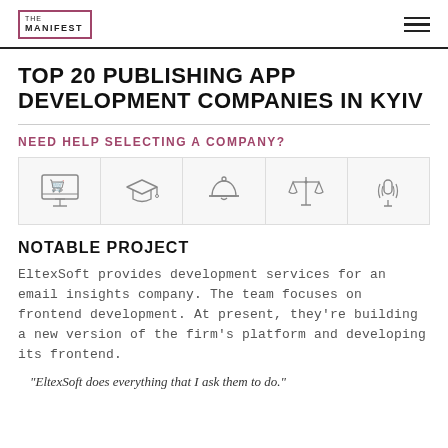THE MANIFEST
TOP 20 PUBLISHING APP DEVELOPMENT COMPANIES IN KYIV
NEED HELP SELECTING A COMPANY?
[Figure (illustration): Row of five category icons: e-commerce/shopping cart on monitor, education/graduation cap, hospitality/service bell, legal/scales of justice, podcast/microphone with wifi]
NOTABLE PROJECT
EltexSoft provides development services for an email insights company. The team focuses on frontend development. At present, they're building a new version of the firm's platform and developing its frontend.
"EltexSoft does everything that I ask them to do."